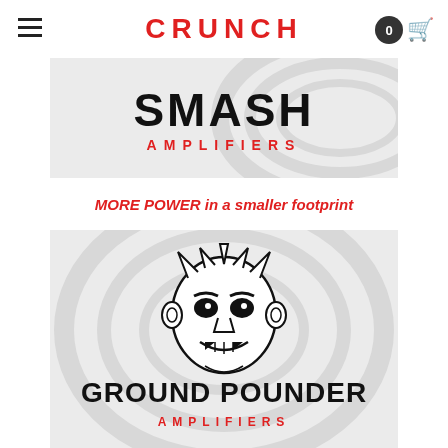CRUNCH
[Figure (logo): Smash Amplifiers banner with bold black SMASH text and red AMPLIFIERS subtitle on light gray swirl background]
MORE POWER in a smaller footprint
[Figure (logo): Ground Pounder Amplifiers banner featuring angry tiki/demon mask illustration in black outline, with GROUND POUNDER bold black text and red AMPLIFIERS subtitle on light gray swirl background]